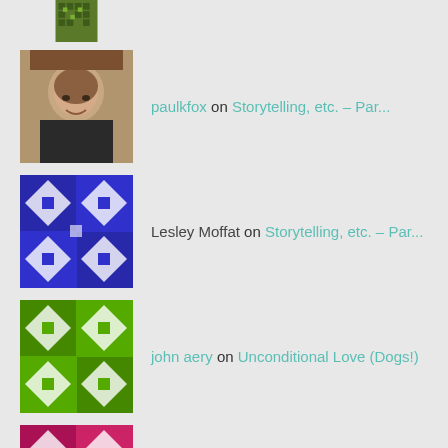[Figure (photo): Avatar image partially visible at top - green pixel art style]
paulkfox on Storytelling, etc. – Par...
Lesley Moffat on Storytelling, etc. – Par...
john aery on Unconditional Love (Dogs!)
Wayne W Walls on Overview – Strategies fo...
CATEGORIES
An Introduction to This Site
Care